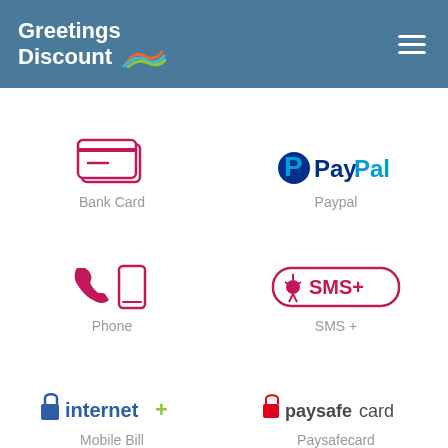[Figure (logo): Greetings Discount logo with rainbow graphic and hamburger menu icon on teal header]
[Figure (illustration): Bank card icon (pink/red outline credit cards)]
Bank Card
[Figure (logo): PayPal logo with blue P and PayPal text]
Paypal
[Figure (illustration): Phone icons: pink telephone handset and pink mobile phone]
Phone
[Figure (logo): SMS+ logo in pink rounded rectangle with star person icon]
SMS +
[Figure (logo): internet+ logo with blue lock icon and teal/green text]
Mobile Bill
[Figure (logo): paysafecard logo with red lock icon]
Paysafecard
72, 100, 200 or 300 DPI ?
Choose your print quality